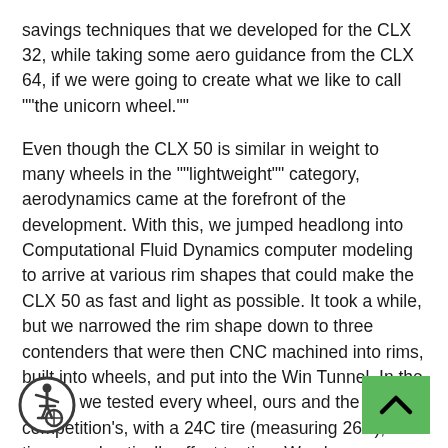savings techniques that we developed for the CLX 32, while taking some aero guidance from the CLX 64, if we were going to create what we like to call ""the unicorn wheel.""
Even though the CLX 50 is similar in weight to many wheels in the ""lightweight"" category, aerodynamics came at the forefront of the development. With this, we jumped headlong into Computational Fluid Dynamics computer modeling to arrive at various rim shapes that could make the CLX 50 as fast and light as possible. It took a while, but we narrowed the rim shape down to three contenders that were then CNC machined into rims, built into wheels, and put into the Win Tunnel. In the tunnel, we tested every wheel, ours and the competition's, with a 24C tire (measuring 26C), as tires can drastically affect testing. We chose a modern-width tire to design our rims around, because they not only allow for less tire pressure (which results in more comfort and less rolling resistance) e ust as aerodynamically efficient when paired e correct rim width.
[Figure (illustration): Accessibility icon — person in wheelchair in a circle with green border]
[Figure (illustration): Green scroll-up button with upward chevron arrow]